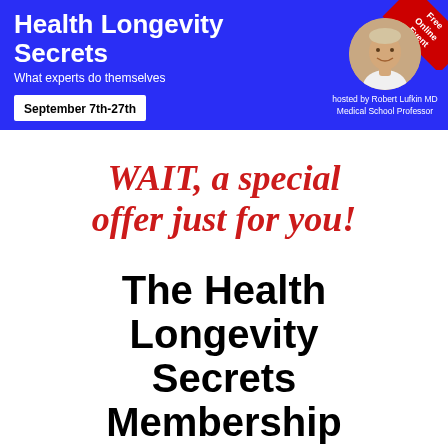[Figure (infographic): Blue banner header for Health Longevity Secrets event. Contains title 'Health Longevity Secrets', subtitle 'What experts do themselves', date box 'September 7th-27th', a red corner ribbon reading 'Free Online Event', and a circular photo of host Robert Lufkin MD with caption 'hosted by Robert Lufkin MD Medical School Professor'.]
WAIT, a special offer just for you!
The Health Longevity Secrets Membership